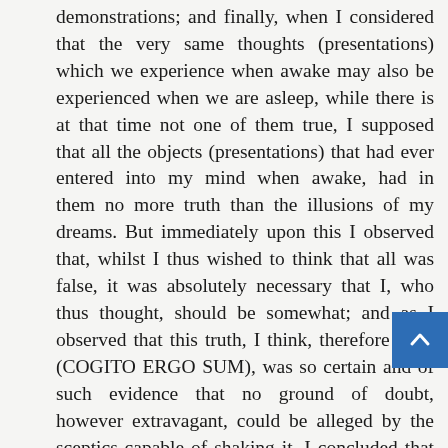demonstrations; and finally, when I considered that the very same thoughts (presentations) which we experience when awake may also be experienced when we are asleep, while there is at that time not one of them true, I supposed that all the objects (presentations) that had ever entered into my mind when awake, had in them no more truth than the illusions of my dreams. But immediately upon this I observed that, whilst I thus wished to think that all was false, it was absolutely necessary that I, who thus thought, should be somewhat; and as I observed that this truth, I think, therefore I am (COGITO ERGO SUM), was so certain and of such evidence that no ground of doubt, however extravagant, could be alleged by the sceptics capable of shaking it, I concluded that I might, without scruple, accept it as the first principle of philosophy of which I was in search.
In the next place, I attentively examined what I was